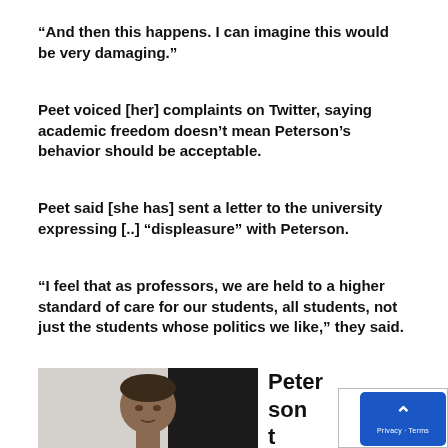“And then this happens. I can imagine this would be very damaging.”
Peet voiced [her] complaints on Twitter, saying academic freedom doesn’t mean Peterson’s behavior should be acceptable.
Peet said [she has] sent a letter to the university expressing [..] “displeasure” with Peterson.
“I feel that as professors, we are held to a higher standard of care for our students, all students, not just the students whose politics we like,” they said.
[Figure (photo): Photo of a man (Peterson) sitting, face visible, split background light and dark, with partial text 'Peterson t... B... ecu' visible to the right and a back-to-top widget overlay in bottom right corner.]